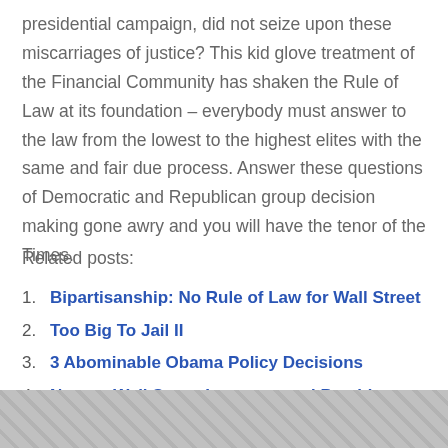presidential campaign, did not seize upon these miscarriages of justice? This kid glove treatment of the Financial Community has shaken the Rule of Law at its foundation – everybody must answer to the law from the lowest to the highest elites with the same and fair due process. Answer these questions of Democratic and Republican group decision making gone awry and you will have the tenor of the Times.
Related posts:
Bipartisanship: No Rule of Law for Wall Street
Too Big To Jail II
3 Abominable Obama Policy Decisions
Note to Wall Street Investors and President Obama
Race to the Bottom: Obama Curries Wall Street Favors